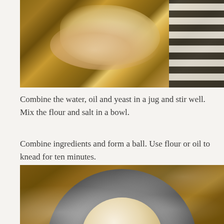[Figure (photo): Overhead view of hands kneading dough on a floured wooden surface, with a striped cloth visible on the right side.]
Combine the water, oil and yeast in a jug and stir well. Mix the flour and salt in a bowl.
Combine ingredients and form a ball. Use flour or oil to knead for ten minutes.
[Figure (photo): Overhead view of a smooth dough ball resting in a large stainless steel bowl on a floured wooden surface.]